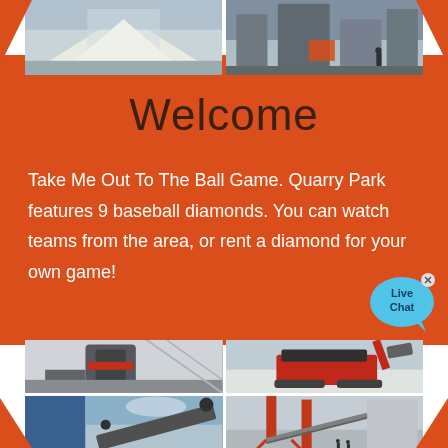[Figure (photo): Two industrial/quarry site photos at top of page]
Welcome
Take Me Out To The Ball Game. Quarry Park features 9 baseball diamonds. You can watch teams from the area, or rent a diamond for your own game!
[Figure (photo): Four industrial mining/crushing equipment photos in a 2x2 grid at bottom of page]